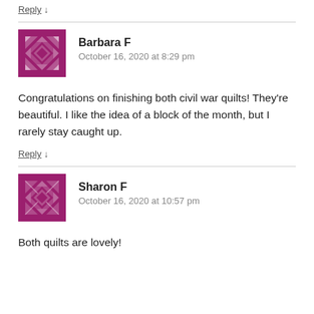Reply ↓
[Figure (illustration): Purple/magenta geometric quilt pattern avatar for Barbara F]
Barbara F
October 16, 2020 at 8:29 pm
Congratulations on finishing both civil war quilts! They're beautiful. I like the idea of a block of the month, but I rarely stay caught up.
Reply ↓
[Figure (illustration): Purple/magenta geometric quilt pattern avatar for Sharon F]
Sharon F
October 16, 2020 at 10:57 pm
Both quilts are lovely!